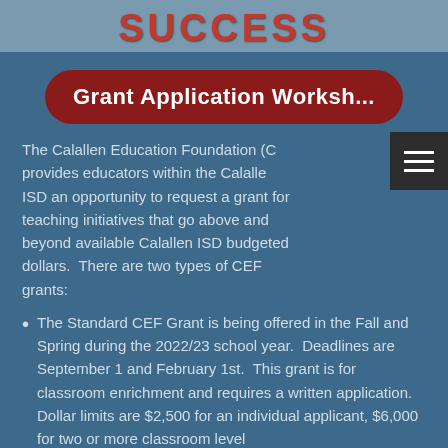SUCCESS
Grant Application Worksh...
The Calallen Education Foundation (C... provides educators within the Calalle... ISD an opportunity to request a grant for teaching initiatives that go above and beyond available Calallen ISD budgeted dollars.  There are two types of CEF grants:
The Standard CEF Grant is being offered in the Fall and Spring during the 2022/23 school year.  Deadlines are September 1 and February 1st.  This grant is for classroom enrichment and requires a written application.  Dollar limits are $2,500 for an individual applicant, $6,000 for two or more classroom level